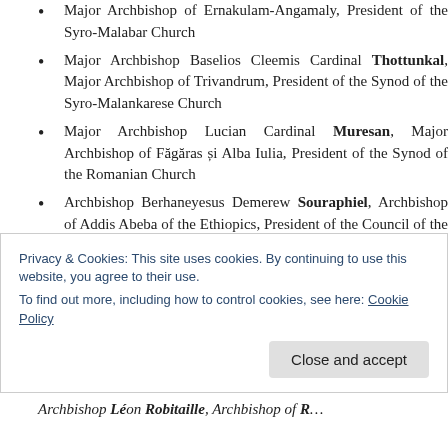Major Archbishop of Ernakulam-Angamaly, President of the Syro-Malabar Church
Major Archbishop Baselios Cleemis Cardinal Thottunkal, Major Archbishop of Trivandrum, President of the Synod of the Syro-Malankarese Church
Major Archbishop Lucian Cardinal Muresan, Major Archbishop of Făgăras și Alba Iulia, President of the Synod of the Romanian Church
Archbishop Berhaneyesus Demerew Souraphiel, Archbishop of Addis Abeba of the Ethiopics, President of the Council of the Ethiopian Church,
Privacy & Cookies: This site uses cookies. By continuing to use this website, you agree to their use.
To find out more, including how to control cookies, see here: Cookie Policy
Archbishop Léon Robitaille, Archbishop of Reims for...